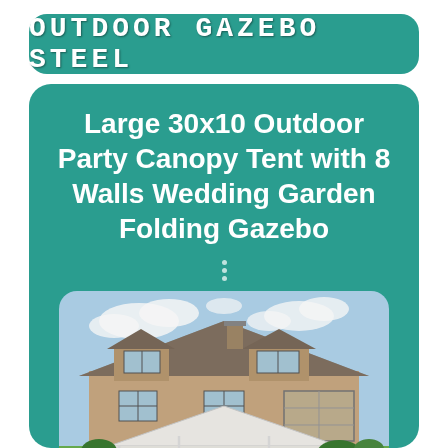OUTDOOR GAZEBO STEEL
Large 30x10 Outdoor Party Canopy Tent with 8 Walls Wedding Garden Folding Gazebo
[Figure (photo): Photo of a white folding gazebo canopy tent set up in front of a large residential house with brown/gray roof. The house has dormer windows, a chimney, and a garage. The image shows a partly cloudy blue sky.]